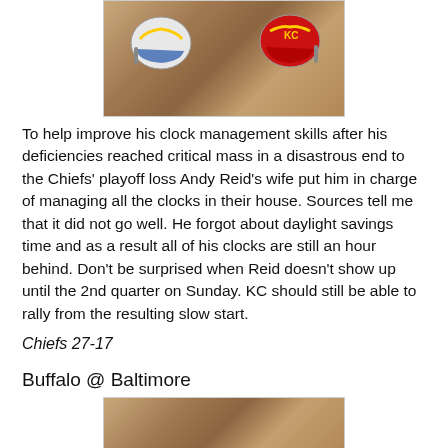[Figure (photo): Two miniature football helmets (one white/blue Chargers, one red/white Chiefs) sitting on a wooden floor surface]
To help improve his clock management skills after his deficiencies reached critical mass in a disastrous end to the Chiefs' playoff loss Andy Reid's wife put him in charge of managing all the clocks in their house. Sources tell me that it did not go well. He forgot about daylight savings time and as a result all of his clocks are still an hour behind. Don't be surprised when Reid doesn't show up until the 2nd quarter on Sunday. KC should still be able to rally from the resulting slow start.
Chiefs 27-17
Buffalo @ Baltimore
[Figure (photo): Wooden floor surface, partial view]